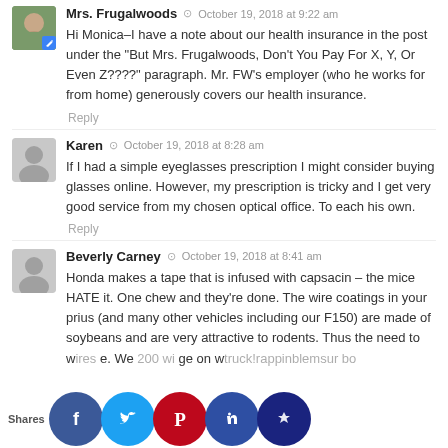Mrs. Frugalwoods · October 19, 2018 at 9:22 am
Hi Monica–I have a note about our health insurance in the post under the "But Mrs. Frugalwoods, Don't You Pay For X, Y, Or Even Z????" paragraph. Mr. FW's employer (who he works for from home) generously covers our health insurance.
Reply
Karen · October 19, 2018 at 8:28 am
If I had a simple eyeglasses prescription I might consider buying glasses online. However, my prescription is tricky and I get very good service from my chosen optical office. To each his own.
Reply
Beverly Carney · October 19, 2018 at 8:41 am
Honda makes a tape that is infused with capsacin – the mice HATE it. One chew and they're done. The wire coatings in your prius (and many other vehicles including our F150) are made of soybeans and are very attractive to rodents. Thus the need to w... wires... e. We... 200 wi... ge on w... truck!... rappin... blems... ur bo...
Shares